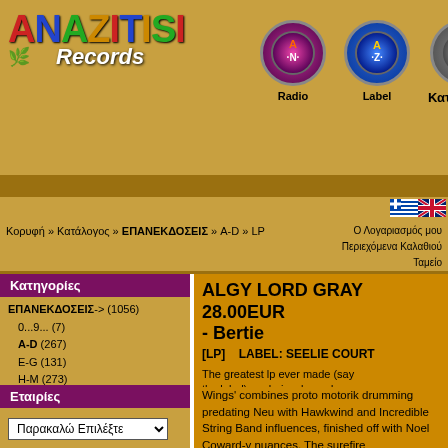[Figure (logo): ANAZITISI Records logo with colorful letter styling and Records italic text]
[Figure (illustration): Radio nav icon circle]
[Figure (illustration): Label nav icon circle]
[Figure (illustration): Κατάστημα nav icon circle]
Κορυφή » Κατάλογος » ΕΠΑΝΕΚΔΟΣΕΙΣ » A-D » LP
Ο Λογαριασμός μου
Περιεχόμενα Καλαθιού
Ταμείο
Κατηγορίες
ΕΠΑΝΕΚΔΟΣΕΙΣ-> (1056)
0...9... (7)
A-D (267)
E-G (131)
H-M (273)
N-S (225)
T-Z (153)
ΜΕΤΑΧΕΙΡΙΣΜΕΝΑ (6)
ΕΛΛΗΝΙΚΑ (191)
ΠΡΟΣΦΟΡΕΣ (10)
CDs (16)
DVDs (6)
ΒΙΒΛΙΑ/FANZINES (24)
ΑΞΕΣΟΥΑΡ
ALGY LORD GRAY  28.00EUR - Bertie
[LP]   LABEL: SEELIE COURT
The greatest lp ever made (say the label), a gloriously mad Kinks-influenced underground Edwardian progressive masterpiece, Bertie is a deranged subversive and witty concept album about a man's descent into ruin. 'Dragonfly Wings' combines proto motorik drumming predating Neu with Hawkwind and Incredible String Band influences, finished off with Noel Coward-y nuances. The surefire
Κάντε Κλικ για Μεγέθυνση
Εταιρίες
Παρακαλώ Επιλέξτε